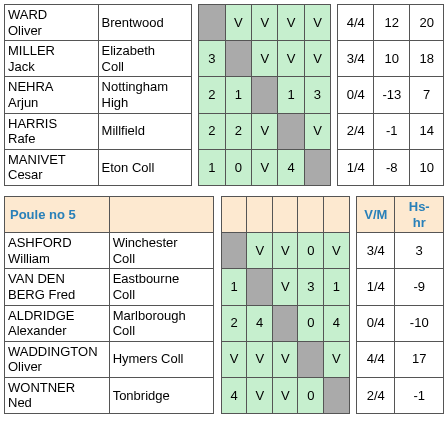| Name | School |  | 1 | 2 | 3 | 4 | 5 |  | V/M | Hs-hr | Pts |
| --- | --- | --- | --- | --- | --- | --- | --- | --- | --- | --- | --- |
| WARD Oliver | Brentwood |  | grey | V | V | V | V |  | 4/4 | 12 | 20 |
| MILLER Jack | Elizabeth Coll |  | 3 | grey | V | V | V |  | 3/4 | 10 | 18 |
| NEHRA Arjun | Nottingham High |  | 2 | 1 | grey | 1 | 3 |  | 0/4 | -13 | 7 |
| HARRIS Rafe | Millfield |  | 2 | 2 | V | grey | V |  | 2/4 | -1 | 14 |
| MANIVET Cesar | Eton Coll |  | 1 | 0 | V | 4 | grey |  | 1/4 | -8 | 10 |
| Poule no 5 |  |  | 1 | 2 | 3 | 4 | 5 |  | V/M | Hs-hr |
| --- | --- | --- | --- | --- | --- | --- | --- | --- | --- | --- |
| ASHFORD William | Winchester Coll |  | grey | V | V | 0 | V |  | 3/4 | 3 |
| VAN DEN BERG Fred | Eastbourne Coll |  | 1 | grey | V | 3 | 1 |  | 1/4 | -9 |
| ALDRIDGE Alexander | Marlborough Coll |  | 2 | 4 | grey | 0 | 4 |  | 0/4 | -10 |
| WADDINGTON Oliver | Hymers Coll |  | V | V | V | grey | V |  | 4/4 | 17 |
| WONTNER Ned | Tonbridge |  | 4 | V | V | 0 | grey |  | 2/4 | -1 |